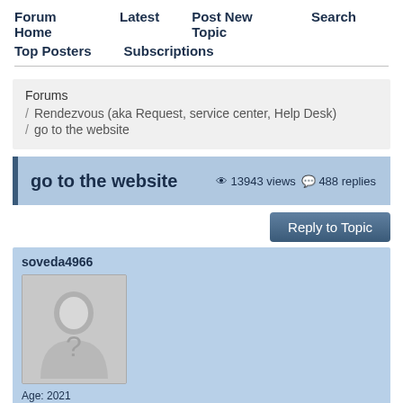Forum Home   Latest   Post New Topic   Search
Top Posters   Subscriptions
Forums / Rendezvous (aka Request, service center, Help Desk) / go to the website
go to the website   13943 views   488 replies
Reply to Topic
soveda4966
Age: 2021
Total Posts: 0